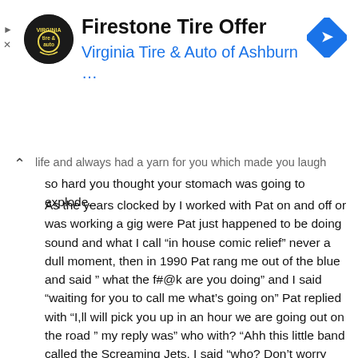[Figure (logo): Firestone Tire Offer ad banner with Virginia Tire & Auto of Ashburn logo and navigation arrow icon]
life and always had a yarn for you which made you laugh so hard you thought your stomach was going to explode.
As the years clocked by I worked with Pat on and off or was working a gig were Pat just happened to be doing sound and what I call "in house comic relief" never a dull moment, then in 1990 Pat rang me out of the blue and said " what the f#@k are you doing" and I said “waiting for you to call me what’s going on” Pat replied with “I,ll will pick you up in an hour we are going out on the road ” my reply was” who with? “Ahh this little band called the Screaming Jets, I said “who? Don’t worry there pretty cool and there really loud”. So Pat picked me up in Randwick. “Hey Pat where the hell are going? Pat replied ” ahh Coff’s Habour the Hoey Moey” I replied “Cool” Pat replied “Cool (pause) you mean cooler than shit mate it’s gunner be fun” Get in we gotta to go”. That poor truck didn't know what hit it Pat fully charged and on a mission I'm not sure whether it was God but “ God save that truck”.